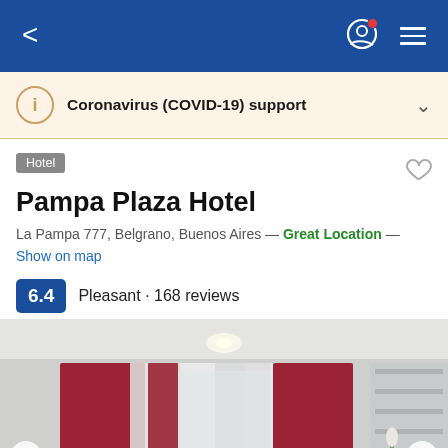Navigation bar with back arrow, user icon, hamburger menu
Coronavirus (COVID-19) support
Hotel
Pampa Plaza Hotel
La Pampa 777, Belgrano, Buenos Aires — Great Location — Show on map
6.4 · Pleasant · 168 reviews
[Figure (photo): Hotel room interior with white walls, red curtains, ceiling light, and shelving visible on the right side]